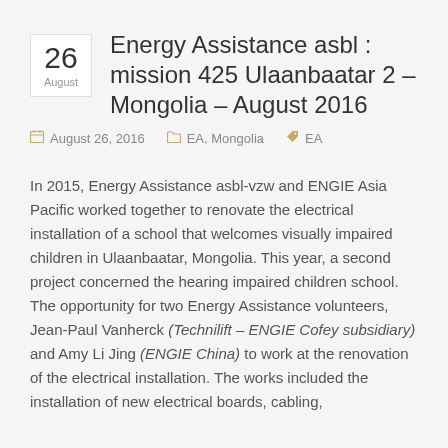Energy Assistance asbl : mission 425 Ulaanbaatar 2 – Mongolia – August 2016
August 26, 2016   EA, Mongolia   EA
In 2015, Energy Assistance asbl-vzw and ENGIE Asia Pacific worked together to renovate the electrical installation of a school that welcomes visually impaired children in Ulaanbaatar, Mongolia. This year, a second project concerned the hearing impaired children school. The opportunity for two Energy Assistance volunteers, Jean-Paul Vanherck (Technilift – ENGIE Cofey subsidiary) and Amy Li Jing (ENGIE China) to work at the renovation of the electrical installation. The works included the installation of new electrical boards, cabling,